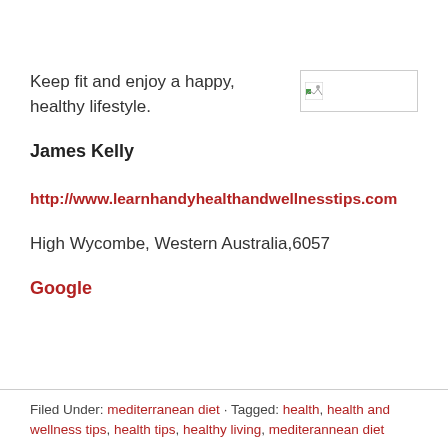Keep fit and enjoy a happy, healthy lifestyle.
[Figure (photo): Broken image placeholder thumbnail]
James Kelly
http://www.learnhandyhealthandwellnesstips.com
High Wycombe, Western Australia,6057
Google
Filed Under: mediterranean diet · Tagged: health, health and wellness tips, health tips, healthy living, mediterannean diet